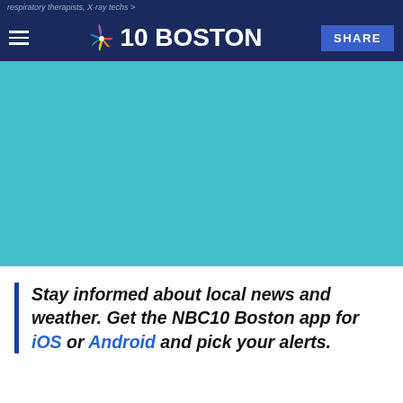respiratory therapists, X-ray techs >
NBC10 Boston — SHARE
[Figure (other): Teal/cyan colored rectangular image placeholder area]
Stay informed about local news and weather. Get the NBC10 Boston app for iOS or Android and pick your alerts.